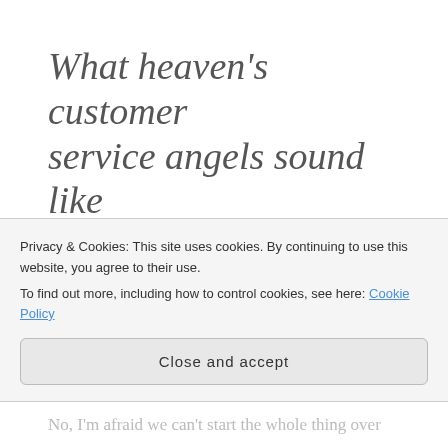What heaven's customer service angels sound like
FEBRUARY 24, 2019
TYLER STRITTMATTER
LEAVE A COMMENT
I'm quite sorry ma'am, but there's been a mistake in
Privacy & Cookies: This site uses cookies. By continuing to use this website, you agree to their use. To find out more, including how to control cookies, see here: Cookie Policy
Close and accept
No, I'm afraid we can't start the whole thing over